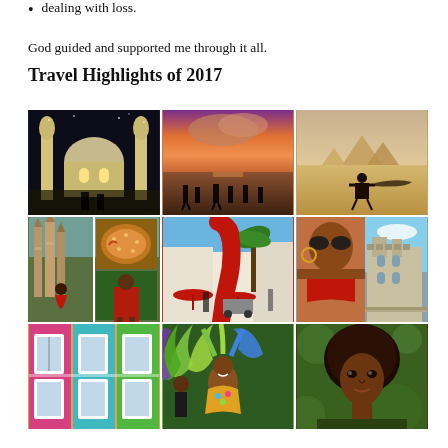dealing with loss.
God guided and supported me through it all.
Travel Highlights of 2017
[Figure (photo): 3x3 grid of travel photos: Row 1: Mosque at night with illuminated dome, silhouetted figures on beach at sunset with pink sky, person posing with arms outstretched in Egyptian desert with pyramids. Row 2: Sagrada Familia and collage with paella, red sculpture at outdoor market with vendor, woman in red swimsuit with Belem Tower in background. Row 3: Colorful building facade, woman in carnival costume with feathers, close-up portrait of woman with natural hair.]